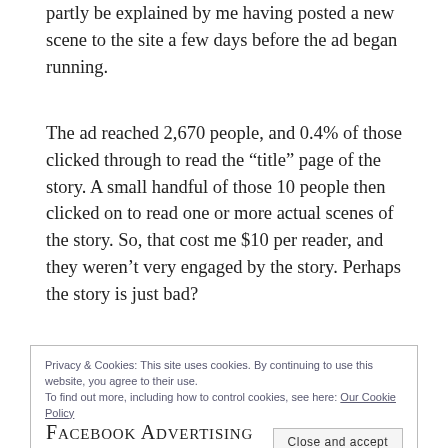partly be explained by me having posted a new scene to the site a few days before the ad began running.
The ad reached 2,670 people, and 0.4% of those clicked through to read the “title” page of the story. A small handful of those 10 people then clicked on to read one or more actual scenes of the story. So, that cost me $10 per reader, and they weren’t very engaged by the story. Perhaps the story is just bad?
Privacy & Cookies: This site uses cookies. By continuing to use this website, you agree to their use.
To find out more, including how to control cookies, see here: Our Cookie Policy
Facebook Advertising